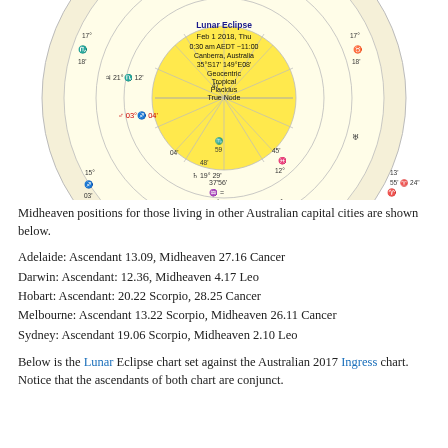[Figure (other): Astrological natal/eclipse chart wheel for Lunar Eclipse, Feb 1 2018, Thu, 0:30 am AEDT -11:00, Canberra, Australia, 35°S17' 149°E08', Geocentric, Tropical, Placidus, True Node. Circular chart with zodiac symbols, planetary glyphs, house divisions, and degree markings.]
Midheaven positions for those living in other Australian capital cities are shown below.
Adelaide: Ascendant 13.09, Midheaven 27.16 Cancer
Darwin: Ascendant: 12.36, Midheaven 4.17 Leo
Hobart: Ascendant: 20.22 Scorpio, 28.25 Cancer
Melbourne: Ascendant 13.22 Scorpio, Midheaven 26.11 Cancer
Sydney: Ascendant 19.06 Scorpio, Midheaven 2.10 Leo
Below is the Lunar Eclipse chart set against the Australian 2017 Ingress chart. Notice that the ascendants of both chart are conjunct.